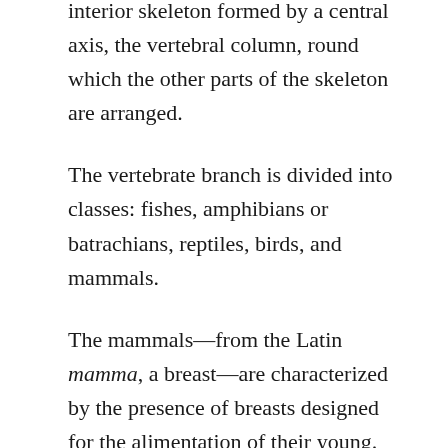interior skeleton formed by a central axis, the vertebral column, round which the other parts of the skeleton are arranged.
The vertebrate branch is divided into classes: fishes, amphibians or batrachians, reptiles, birds, and mammals.
The mammals—from the Latin mamma, a breast—are characterized by the presence of breasts designed for the alimentation of their young. Their bodies are covered with hair, hence the name pilifères proposed by Blainville; and, notwithstanding that in some individuals the hairs are few, the character is sufficient to distinguish